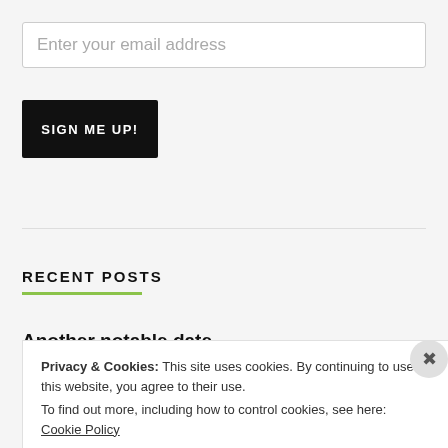Enter your email address
SIGN ME UP!
RECENT POSTS
Another notable date
Privacy & Cookies: This site uses cookies. By continuing to use this website, you agree to their use.
To find out more, including how to control cookies, see here: Cookie Policy
Close and accept